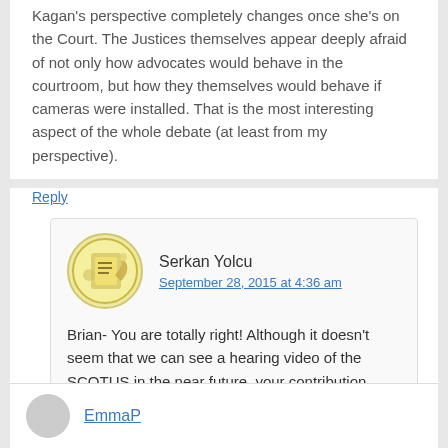Kagan's perspective completely changes once she's on the Court. The Justices themselves appear deeply afraid of not only how advocates would behave in the courtroom, but how they themselves would behave if cameras were installed. That is the most interesting aspect of the whole debate (at least from my perspective).
Reply
Serkan Yolcu
September 28, 2015 at 4:36 am
Brian- You are totally right! Although it doesn’t seem that we can see a hearing video of the SCOTUS in the near future, your contribution remains still striking!
Reply
EmmaP